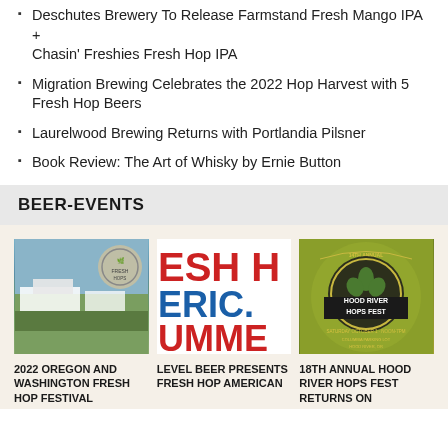Deschutes Brewery To Release Farmstand Fresh Mango IPA + Chasin' Freshies Fresh Hop IPA
Migration Brewing Celebrates the 2022 Hop Harvest with 5 Fresh Hop Beers
Laurelwood Brewing Returns with Portlandia Pilsner
Book Review: The Art of Whisky by Ernie Button
BEER-EVENTS
[Figure (photo): Aerial photo of an outdoor festival event with white tent structures in a field]
[Figure (photo): Fresh Hop American Summer text poster with large red and blue letters]
[Figure (photo): 18th Annual Hood River Hops Fest event poster on green/yellow background with hop logo]
2022 OREGON AND WASHINGTON FRESH HOP FESTIVAL
LEVEL BEER PRESENTS FRESH HOP AMERICAN
18TH ANNUAL HOOD RIVER HOPS FEST RETURNS ON